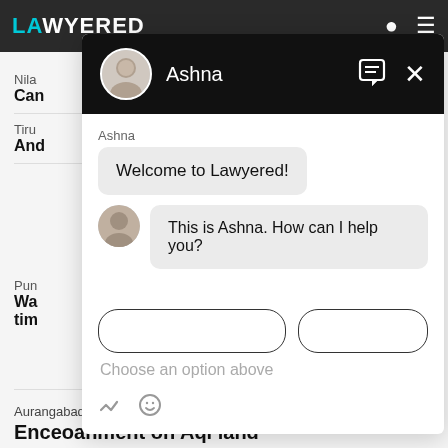[Figure (screenshot): Screenshot of Lawyered website with a chat popup overlay showing a conversation with 'Ashna'. The chat header is black with avatar and name. Messages include 'Welcome to Lawyered!' and 'This is Ashna. How can I help you?' with a 'Choose an option above' prompt. Background shows partial lawyer listings.]